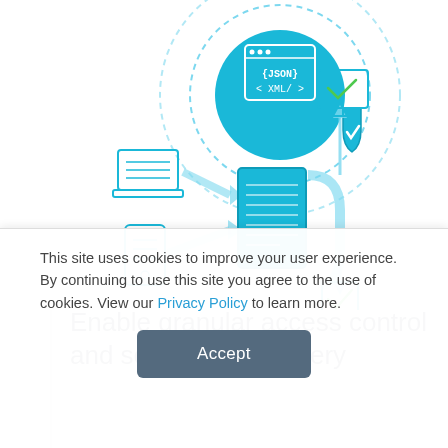[Figure (infographic): Technology infographic showing a circular diagram with JSON/XML data exchange icons at top, connected to a central server/document icon via laptop and mobile device arrows, with security shield icon, flowing into checkmark endpoint icons above and below, rendered in teal/cyan colors]
Enable granular access control and secure app delivery
This site uses cookies to improve your user experience. By continuing to use this site you agree to the use of cookies. View our Privacy Policy to learn more.